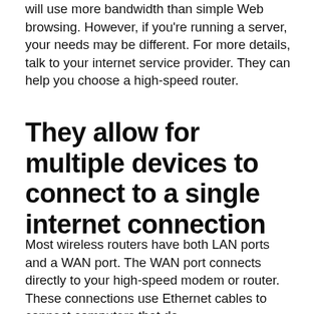will use more bandwidth than simple Web browsing. However, if you're running a server, your needs may be different. For more details, talk to your internet service provider. They can help you choose a high-speed router.
They allow for multiple devices to connect to a single internet connection
Most wireless routers have both LAN ports and a WAN port. The WAN port connects directly to your high-speed modem or router. These connections use Ethernet cables to connect computers that do